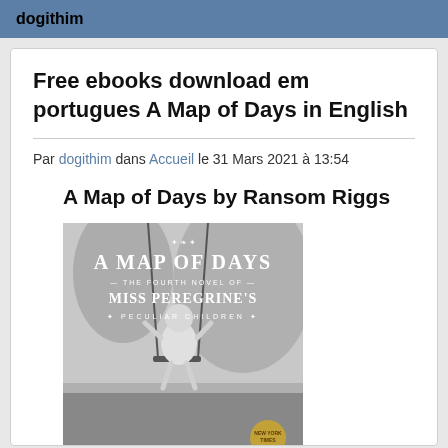dogithim
Free ebooks download em portugues A Map of Days in English
Par dogithim dans Accueil le 31 Mars 2021 à 13:54
A Map of Days by Ransom Riggs
[Figure (photo): Book cover of 'A Map of Days: The Fourth Novel of Miss Peregrine's Peculiar Children' by Ransom Riggs. Black and white photo of a child on a swing with stylized title text overlay.]